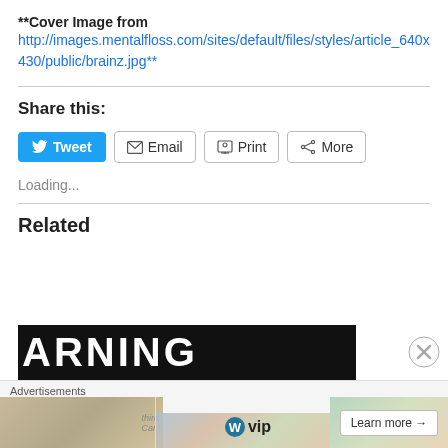**Cover Image from http://images.mentalfloss.com/sites/default/files/styles/article_640x430/public/brainz.jpg**
Share this:
Loading...
Related
[Figure (screenshot): WARNING sign image (partial, bottom of page)]
Advertisements